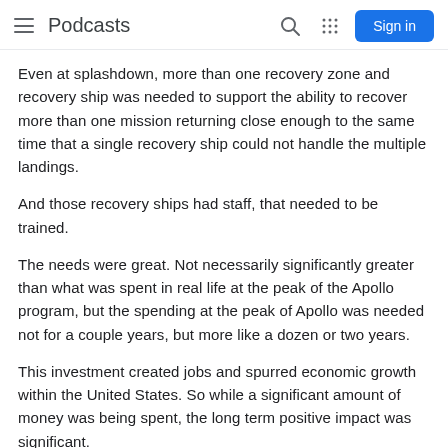Podcasts
Even at splashdown, more than one recovery zone and recovery ship was needed to support the ability to recover more than one mission returning close enough to the same time that a single recovery ship could not handle the multiple landings.
And those recovery ships had staff, that needed to be trained.
The needs were great. Not necessarily significantly greater than what was spent in real life at the peak of the Apollo program, but the spending at the peak of Apollo was needed not for a couple years, but more like a dozen or two years.
This investment created jobs and spurred economic growth within the United States. So while a significant amount of money was being spent, the long term positive impact was significant.
Apollo, a fully utilized program in the world of Belitopia, was a boom for our economy, for the space program, for technological advancement, for our position as a super power